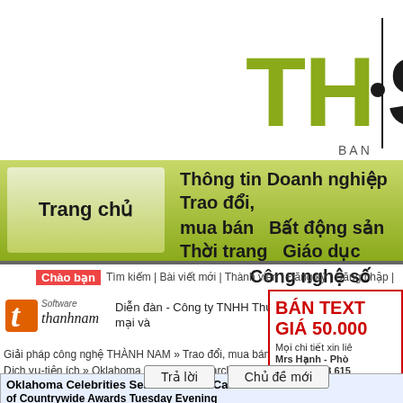[Figure (logo): TH·S logo with BAN text, green letters on white background]
Trang chủ   Thông tin Doanh nghiệp   Trao đổi,
mua bán   Bất động sản   Thời trang   Giáo dục
Công nghệ số
Chào bạn   Tìm kiếm | Bài viết mới | Thành viên | Đăng ký | Đăng nhập |
[Figure (logo): Thanhnam Software logo - orange t icon with cursive text]
Diễn đàn - Công ty TNHH Thương mại và
Giải pháp công nghệ THÀNH NAM » Trao đổi, mua bán » Dịch vụ-tiện ích » Oklahoma Celebrities Search toward Catch Few of Countrywide Awards Tuesday Evening
Trả lời   Chủ đề mới
BÁN TEXT
GIÁ 50.000
Mọi chi tiết xin liê
Mrs Hạnh - Phò
Hot-line: 093 615
Điện thoại công t
Email: dthanh@g
Oklahoma Celebrities Search toward Catch Few of Countrywide Awards Tuesday Evening